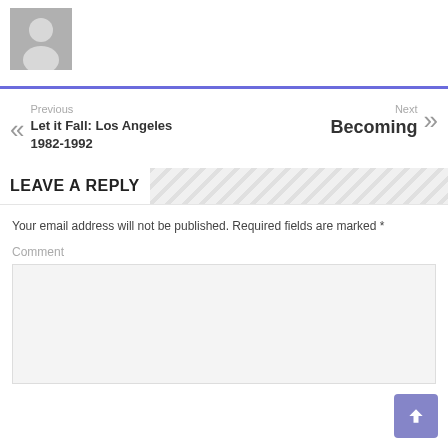[Figure (illustration): Gray silhouette avatar placeholder image]
Previous
Let it Fall: Los Angeles 1982-1992
Next
Becoming
LEAVE A REPLY
Your email address will not be published. Required fields are marked *
Comment